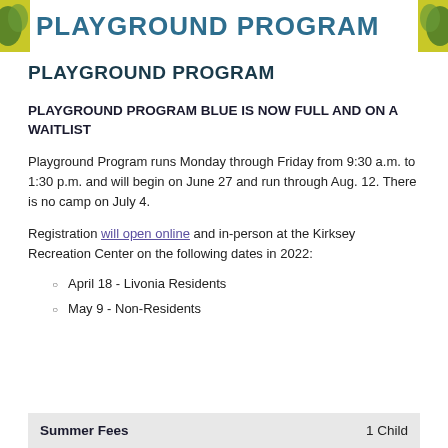PLAYGROUND PROGRAM
PLAYGROUND PROGRAM
PLAYGROUND PROGRAM BLUE IS NOW FULL AND ON A WAITLIST
Playground Program runs Monday through Friday from 9:30 a.m. to 1:30 p.m. and will begin on June 27 and run through Aug. 12. There is no camp on July 4.
Registration will open online and in-person at the Kirksey Recreation Center on the following dates in 2022:
April 18 - Livonia Residents
May 9 - Non-Residents
| Summer Fees | 1 Child |
| --- | --- |